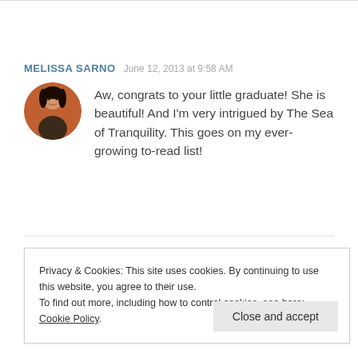MELISSA SARNO   June 12, 2013 at 9:58 AM
[Figure (photo): Circular avatar photo of a young woman with dark hair in front of a brick wall]
Aw, congrats to your little graduate! She is beautiful! And I'm very intrigued by The Sea of Tranquility. This goes on my ever-growing to-read list!
Privacy & Cookies: This site uses cookies. By continuing to use this website, you agree to their use.
To find out more, including how to control cookies, see here: Cookie Policy
Close and accept